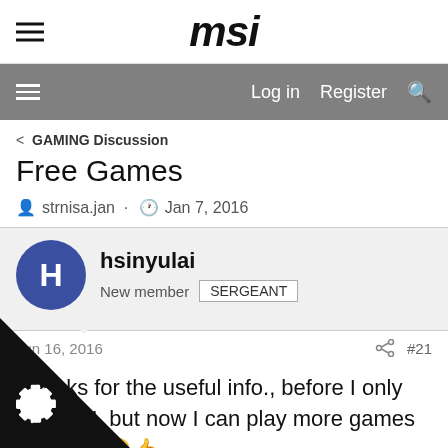msi
Log in  Register
< GAMING Discussion
Free Games
strnisa.jan · Jan 7, 2016
hsinyulai
New member  SERGEANT
Jun 16, 2016   #21
Thanks for the useful info., before I only play LOL but now I can play more games for free!! 😊👍